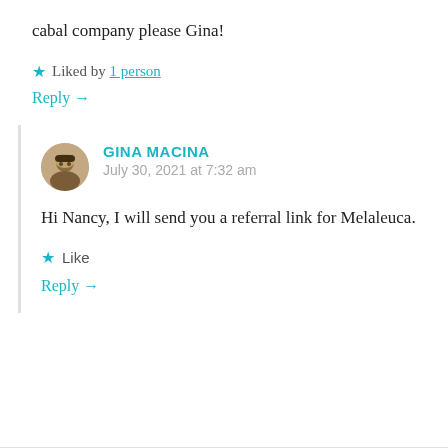cabal company please Gina!
Liked by 1 person
Reply →
GINA MACINA
July 30, 2021 at 7:32 am
Hi Nancy, I will send you a referral link for Melaleuca.
Like
Reply →